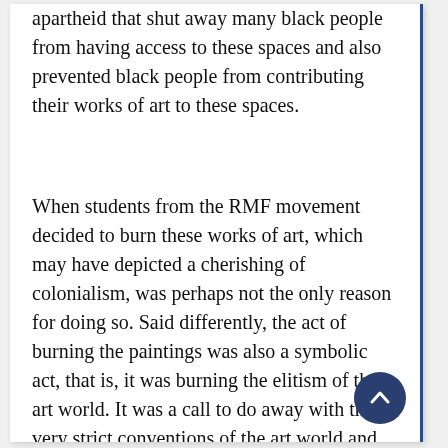apartheid that shut away many black people from having access to these spaces and also prevented black people from contributing their works of art to these spaces.
When students from the RMF movement decided to burn these works of art, which may have depicted a cherishing of colonialism, was perhaps not the only reason for doing so. Said differently, the act of burning the paintings was also a symbolic act, that is, it was burning the elitism of the art world. It was a call to do away with these very strict conventions of the art world and its public. It was also an act to say that “as students we are tired of waking up to paintings that require a certain attitude to engage with the painting”. Apart from the notion that the